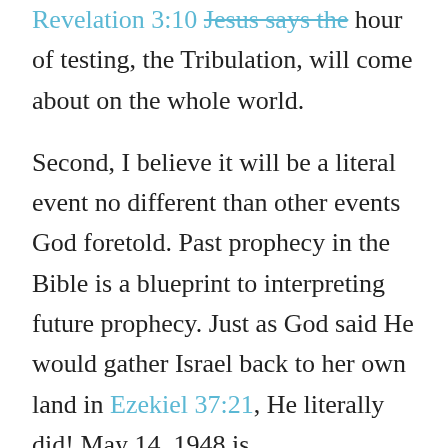Revelation 3:10 Jesus says the hour of testing, the Tribulation, will come about on the whole world.
Second, I believe it will be a literal event no different than other events God foretold. Past prophecy in the Bible is a blueprint to interpreting future prophecy. Just as God said He would gather Israel back to her own land in Ezekiel 37:21, He literally did! May 14, 1948 is incontrovertible evidence of God keeping His word literally. Just as God said He would rescue the nation of Israel from her Babylonian captivity through a